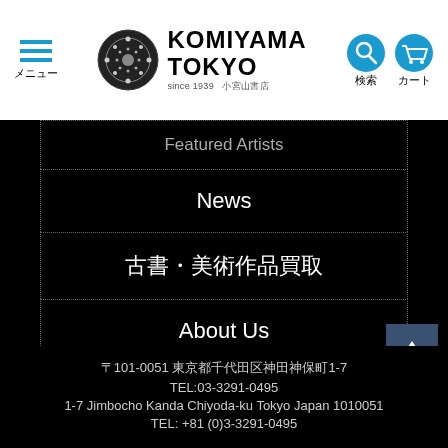KOMIYAMA TOKYO 小宮山書店 - メニュー 検索 カート
Featured Artists
News
古書・美術作品買取
About Us
Contact
〒101-0051 東京都千代田区神田神保町1-7
TEL:03-3291-0495
1-7 Jimbocho Kanda Chiyoda-ku Tokyo Japan 1010051
TEL: +81 (0)3-3291-0495